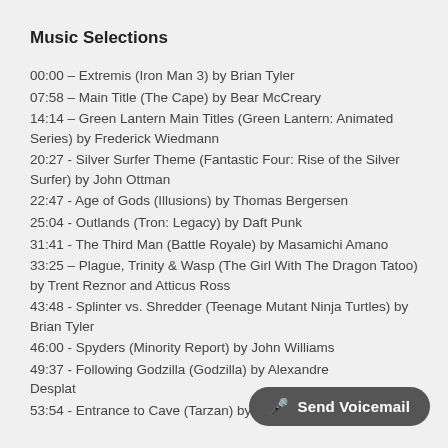Music Selections
00:00 – Extremis (Iron Man 3) by Brian Tyler
07:58 – Main Title (The Cape) by Bear McCreary
14:14 – Green Lantern Main Titles (Green Lantern: Animated Series) by Frederick Wiedmann
20:27 - Silver Surfer Theme (Fantastic Four: Rise of the Silver Surfer) by John Ottman
22:47 - Age of Gods (Illusions) by Thomas Bergersen
25:04 - Outlands (Tron: Legacy) by Daft Punk
31:41 - The Third Man (Battle Royale) by Masamichi Amano
33:25 – Plague, Trinity & Wasp (The Girl With The Dragon Tatoo) by Trent Reznor and Atticus Ross
43:48 - Splinter vs. Shredder (Teenage Mutant Ninja Turtles) by Brian Tyler
46:00 - Spyders (Minority Report) by John Williams
49:37 - Following Godzilla (Godzilla) by Alexandre Desplat
53:54 - Entrance to Cave (Tarzan) by David Newman